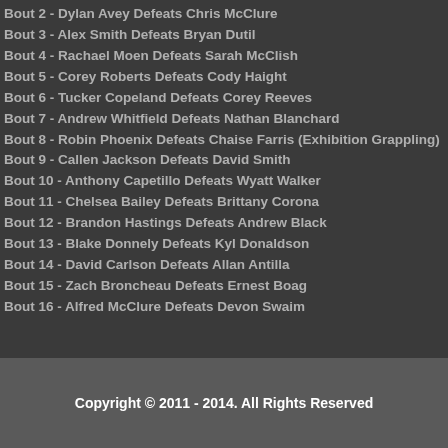Bout 2 - Dylan Avey Defeats Chris McClure
Bout 3 - Alex Smith Defeats Bryan Dutil
Bout 4 - Rachael Moen Defeats Sarah McClish
Bout 5 - Corey Roberts Defeats Cody Haight
Bout 6 - Tucker Copeland Defeats Corey Reeves
Bout 7 - Andrew Whitfield Defeats Nathan Blanchard
Bout 8 - Robin Phoenix Defeats Chaise Farris (Exhibition Grappling)
Bout 9 - Callen Jackson Defeats David Smith
Bout 10 - Anthony Capetillo Defeats Wyatt Walker
Bout 11 - Chelsea Bailey Defeats Brittany Corona
Bout 12 - Brandon Hastings Defeats Andrew Black
Bout 13 - Blake Donnely Defeats Kyl Donaldson
Bout 14 - David Carlson Defeats Allan Antilla
Bout 15 - Zach Broncheau Defeats Ernest Boag
Bout 16 - Alfred McClure Defeats Devon Swaim
Copyright © 2011 - 2014. All Rights Reserved